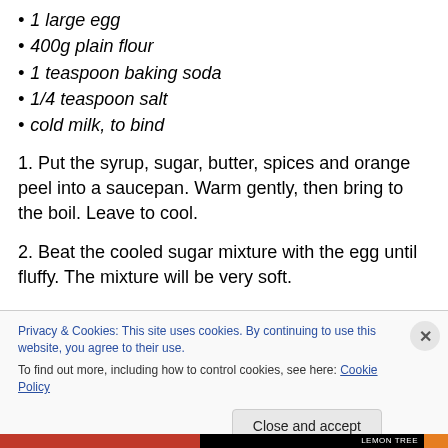1 large egg
400g plain flour
1 teaspoon baking soda
1/4 teaspoon salt
cold milk, to bind
1. Put the syrup, sugar, butter, spices and orange peel into a saucepan. Warm gently, then bring to the boil. Leave to cool.
2. Beat the cooled sugar mixture with the egg until fluffy. The mixture will be very soft.
Privacy & Cookies: This site uses cookies. By continuing to use this website, you agree to their use.
To find out more, including how to control cookies, see here: Cookie Policy